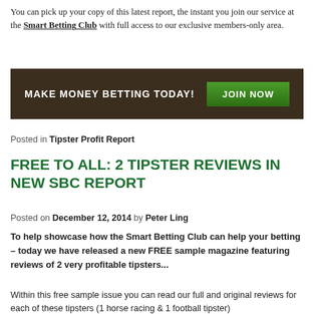You can pick up your copy of this latest report, the instant you join our service at the Smart Betting Club with full access to our exclusive members-only area.
[Figure (infographic): Dark brown banner with white text 'MAKE MONEY BETTING TODAY!' and a green 'JOIN NOW' button on the right.]
Posted in Tipster Profit Report
FREE TO ALL: 2 TIPSTER REVIEWS IN NEW SBC REPORT
Posted on December 12, 2014 by Peter Ling
To help showcase how the Smart Betting Club can help your betting – today we have released a new FREE sample magazine featuring reviews of 2 very profitable tipsters...
Within this free sample issue you can read our full and original reviews for each of these tipsters (1 horse racing & 1 football tipster)